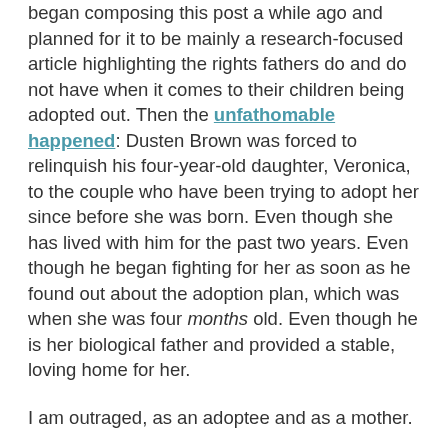began composing this post a while ago and planned for it to be mainly a research-focused article highlighting the rights fathers do and do not have when it comes to their children being adopted out. Then the unfathomable happened: Dusten Brown was forced to relinquish his four-year-old daughter, Veronica, to the couple who have been trying to adopt her since before she was born. Even though she has lived with him for the past two years. Even though he began fighting for her as soon as he found out about the adoption plan, which was when she was four months old. Even though he is her biological father and provided a stable, loving home for her.
I am outraged, as an adoptee and as a mother.
As an adoptee, I sympathize with Veronica, who is now losing her family once again and, even worse, losing precious time with her own father to satisfy the needs of an infertile adoptive couple who are not related to her biologically in any way for all intents and purposes.